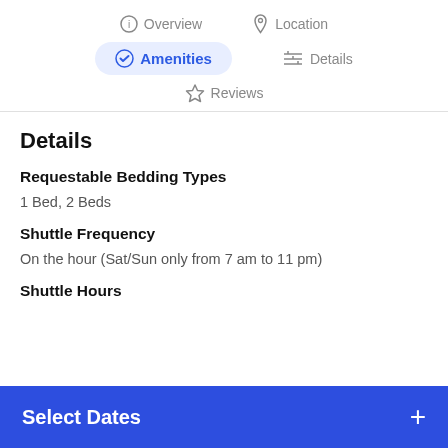Overview   Location   Amenities   Details   Reviews
Details
Requestable Bedding Types
1 Bed, 2 Beds
Shuttle Frequency
On the hour (Sat/Sun only from 7 am to 11 pm)
Shuttle Hours
Select Dates